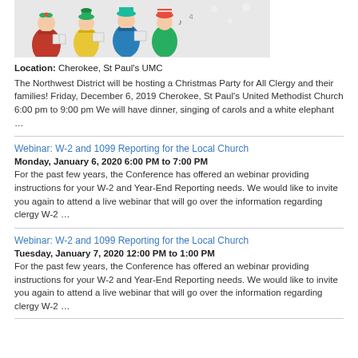[Figure (illustration): Illustration of carolers in Christmas outfits holding songbooks]
Location: Cherokee, St Paul's UMC
The Northwest District will be hosting a Christmas Party for All Clergy and their families! Friday, December 6, 2019 Cherokee, St Paul's United Methodist Church 6:00 pm to 9:00 pm We will have dinner, singing of carols and a white elephant …
Webinar: W-2 and 1099 Reporting for the Local Church
Monday, January 6, 2020 6:00 PM to 7:00 PM
For the past few years, the Conference has offered an webinar providing instructions for your W-2 and Year-End Reporting needs. We would like to invite you again to attend a live webinar that will go over the information regarding clergy W-2 …
Webinar: W-2 and 1099 Reporting for the Local Church
Tuesday, January 7, 2020 12:00 PM to 1:00 PM
For the past few years, the Conference has offered an webinar providing instructions for your W-2 and Year-End Reporting needs. We would like to invite you again to attend a live webinar that will go over the information regarding clergy W-2 …